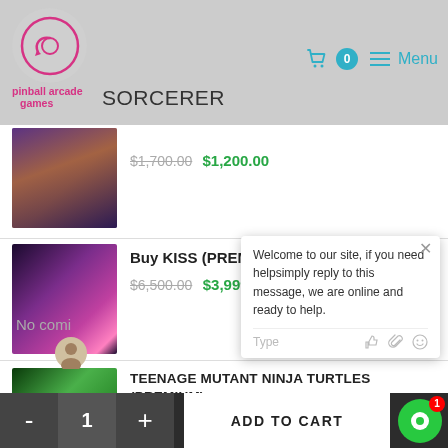pinball arcade games | SORCERER | Menu | 0
[Figure (screenshot): Partially visible pinball machine product thumbnail (Sorcerer)]
$1,700.00 $1,200.00
[Figure (photo): KISS Premium/LE pinball machine with colorful display]
Buy KISS (PREMIUM/LE) Pinball Machine
$6,500.00 $3,999.00
[Figure (photo): Teenage Mutant Ninja Turtles Premium pinball machine with green lighting]
TEENAGE MUTANT NINJA TURTLES (PREMIUM)
$57,000.00 $4,000.00
Welcome to our site, if you need helpsimply reply to this message, we are online and ready to help.
No comi...
- 1 + ADD TO CART